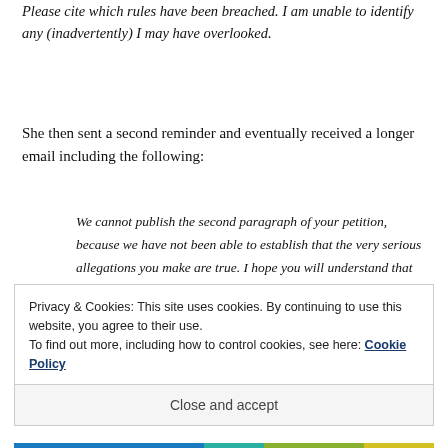Please cite which rules have been breached. I am unable to identify any (inadvertently) I may have overlooked.
She then sent a second reminder and eventually received a longer email including the following:
We cannot publish the second paragraph of your petition, because we have not been able to establish that the very serious allegations you make are true. I hope you will understand that we cannot publish allegations of unlawful conduct. We would be happy to look at alternative wording for this paragraph, if you would like to propose some. It would need to be worded moderately and fall within our rules. You might reasonably say, for example, that many people believe that the former inhabitants of the Chagos Islands
Privacy & Cookies: This site uses cookies. By continuing to use this website, you agree to their use.
To find out more, including how to control cookies, see here: Cookie Policy
Close and accept